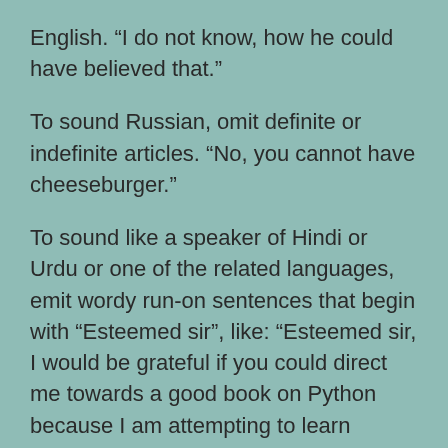English. “I do not know, how he could have believed that.”
To sound Russian, omit definite or indefinite articles. “No, you cannot have cheeseburger.”
To sound like a speaker of Hindi or Urdu or one of the related languages, emit wordy run-on sentences that begin with “Esteemed sir”, like: “Esteemed sir, I would be grateful if you could direct me towards a good book on Python because I am attempting to learn programming.”
Understand, none of these errors actually